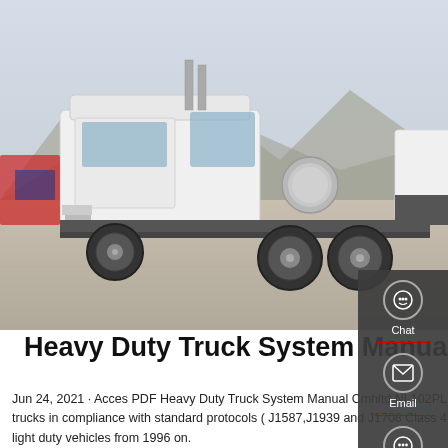[Figure (photo): Photo of a white heavy duty semi-truck cab (tractor unit) parked in a yard with mountains in background. Several other red and white trucks visible behind it.]
Heavy Duty Truck System Manual Cmhltd
Jun 24, 2021 · Acces PDF Heavy Duty Truck System Manual Cmhltd NL102PLUS HEAVY DUTY diagnostic scanner from NEXAS supports all heavy duty trucks in compliance with standard protocols ( J1587,J1939 and J1708 Class 4- class 8 trucks). And also engine check diagnostic for all passenger cars & light duty vehicles from 1996 on.